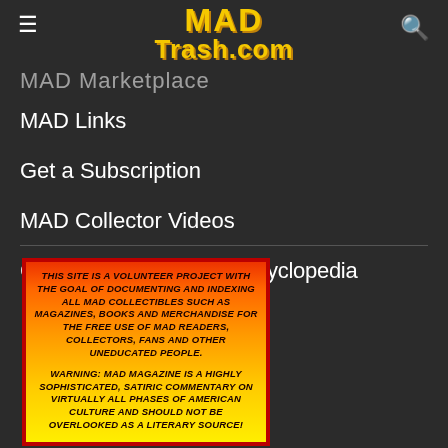MAD Trash.com
MAD Marketplace
MAD Links
Get a Subscription
MAD Collector Videos
CRACKED Magazine Enzyclopedia
[Figure (infographic): Orange-yellow gradient box with red border containing promotional text about MAD Trash.com being a volunteer project. Text reads: THIS SITE IS A VOLUNTEER PROJECT WITH THE GOAL OF DOCUMENTING AND INDEXING ALL MAD COLLECTIBLES SUCH AS MAGAZINES, BOOKS AND MERCHANDISE FOR THE FREE USE OF MAD READERS, COLLECTORS, FANS AND OTHER UNEDUCATED PEOPLE. WARNING: MAD MAGAZINE IS A HIGHLY SOPHISTICATED, SATIRIC COMMENTARY ON VIRTUALLY ALL PHASES OF AMERICAN CULTURE AND SHOULD NOT BE OVERLOOKED AS A LITERARY SOURCE!]